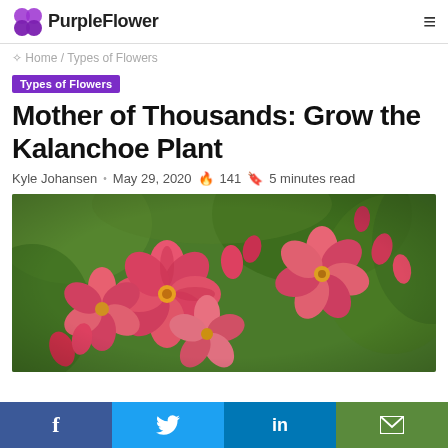PurpleFlower
Home / Types of Flowers
Types of Flowers
Mother of Thousands: Grow the Kalanchoe Plant
Kyle Johansen · May 29, 2020 🔥 141 🔖 5 minutes read
[Figure (photo): Close-up photo of pink/red Kalanchoe flowers in bloom against a green background]
f  t  in  ✉